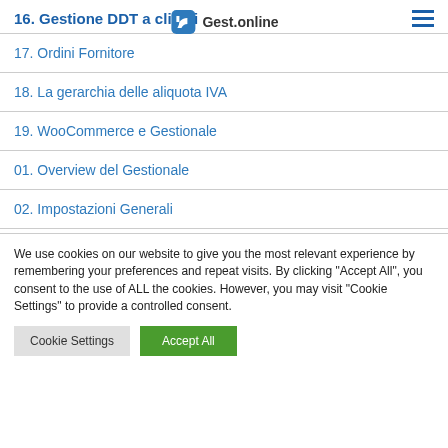16. Gestione DDT a clienti | Gest.online
17. Ordini Fornitore
18. La gerarchia delle aliquota IVA
19. WooCommerce e Gestionale
01. Overview del Gestionale
02. Impostazioni Generali
We use cookies on our website to give you the most relevant experience by remembering your preferences and repeat visits. By clicking "Accept All", you consent to the use of ALL the cookies. However, you may visit "Cookie Settings" to provide a controlled consent.